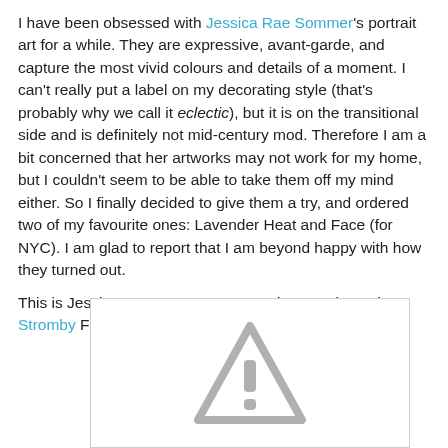I have been obsessed with Jessica Rae Sommer's portrait art for a while. They are expressive, avant-garde, and capture the most vivid colours and details of a moment. I can't really put a label on my decorating style (that's probably why we call it eclectic), but it is on the transitional side and is definitely not mid-century mod. Therefore I am a bit concerned that her artworks may not work for my home, but I couldn't seem to be able to take them off my mind either. So I finally decided to give them a try, and ordered two of my favourite ones: Lavender Heat and Face (for NYC). I am glad to report that I am beyond happy with how they turned out.
This is Jessica Rae Sommer's Lavender Heat in an Ikea Stromby Frame.
[Figure (photo): Broken/unavailable image placeholder showing a triangle warning icon with exclamation mark in grey]